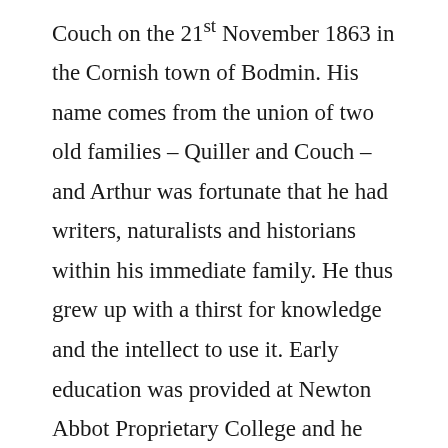Couch on the 21st November 1863 in the Cornish town of Bodmin. His name comes from the union of two old families – Quiller and Couch – and Arthur was fortunate that he had writers, naturalists and historians within his immediate family. He thus grew up with a thirst for knowledge and the intellect to use it. Early education was provided at Newton Abbot Proprietary College and he progressed from there to Clifton College, Oxford, and then Trinity College in the same